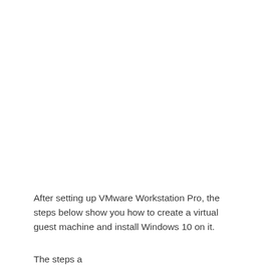After setting up VMware Workstation Pro, the steps below show you how to create a virtual guest machine and install Windows 10 on it.
The steps also allow to take the steps to install...